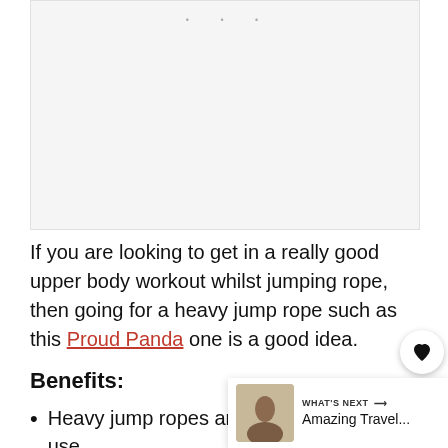[Figure (photo): Image placeholder with three dots at top center, light gray background]
If you are looking to get in a really good upper body workout whilst jumping rope, then going for a heavy jump rope such as this Proud Panda one is a good idea.
Benefits:
Heavy jump ropes are more difficult to use